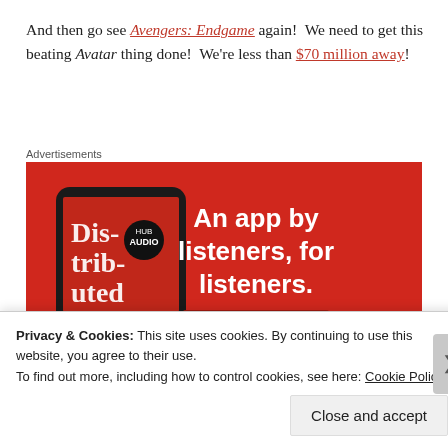And then go see Avengers: Endgame again!  We need to get this beating Avatar thing done!  We're less than $70 million away!
Advertisements
[Figure (infographic): Red advertisement banner for a podcast app showing a smartphone with 'Dis-trib-uted' podcast text, with the tagline 'An app by listeners, for listeners.' and a 'Download now' button.]
Privacy & Cookies: This site uses cookies. By continuing to use this website, you agree to their use.
To find out more, including how to control cookies, see here: Cookie Policy
Close and accept